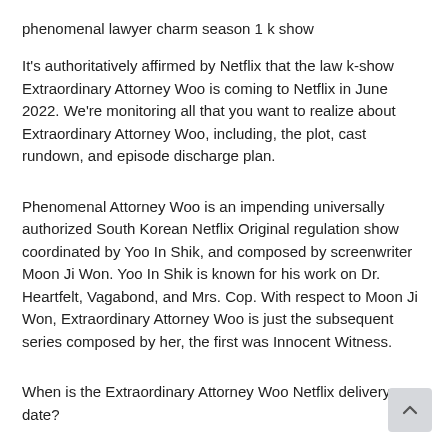phenomenal lawyer charm season 1 k show
It's authoritatively affirmed by Netflix that the law k-show Extraordinary Attorney Woo is coming to Netflix in June 2022. We're monitoring all that you want to realize about Extraordinary Attorney Woo, including, the plot, cast rundown, and episode discharge plan.
Phenomenal Attorney Woo is an impending universally authorized South Korean Netflix Original regulation show coordinated by Yoo In Shik, and composed by screenwriter Moon Ji Won. Yoo In Shik is known for his work on Dr. Heartfelt, Vagabond, and Mrs. Cop. With respect to Moon Ji Won, Extraordinary Attorney Woo is just the subsequent series composed by her, the first was Innocent Witness.
When is the Extraordinary Attorney Woo Netflix delivery date?